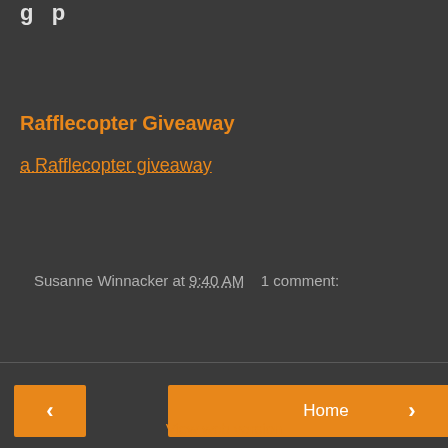...p...
Rafflecopter Giveaway
a Rafflecopter giveaway
Susanne Winnacker at 9:40 AM    1 comment:
Share
‹
Home
›
View web version